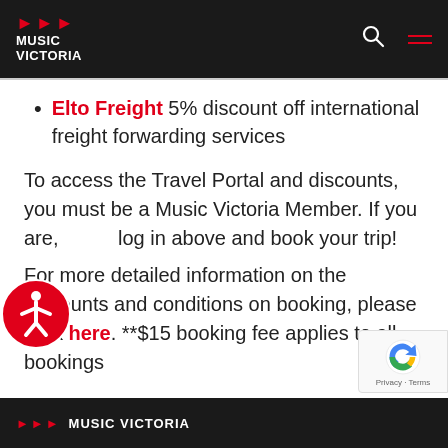Music Victoria
Elto Freight 5% discount off international freight forwarding services
To access the Travel Portal and discounts, you must be a Music Victoria Member. If you are, log in above and book your trip!
For more detailed information on the discounts and conditions on booking, please click here. **$15 booking fee applies to all bookings
Music Victoria